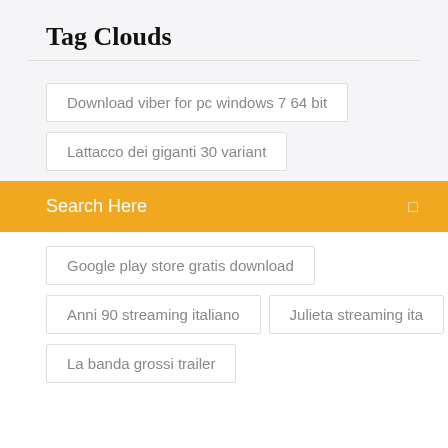Tag Clouds
Download viber for pc windows 7 64 bit
Lattacco dei giganti 30 variant
Search Here
Google play store gratis download
Anni 90 streaming italiano
Julieta streaming ita
La banda grossi trailer
Newsletter